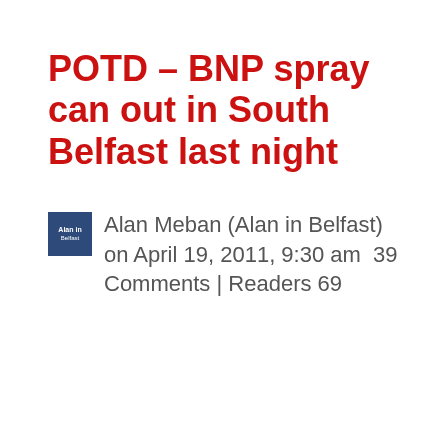POTD – BNP spray can out in South Belfast last night
Alan Meban (Alan in Belfast) on April 19, 2011, 9:30 am  39 Comments | Readers 69